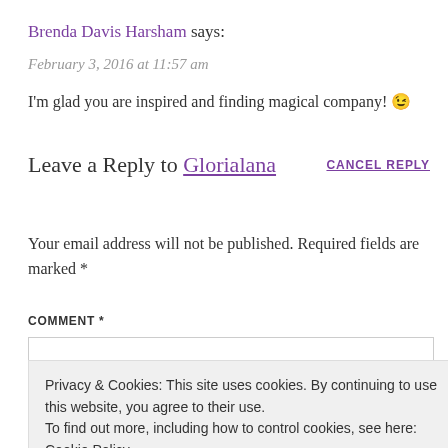Brenda Davis Harsham says:
February 3, 2016 at 11:57 am
I'm glad you are inspired and finding magical company! 😉
Leave a Reply to Glorialana
Your email address will not be published. Required fields are marked *
COMMENT *
Privacy & Cookies: This site uses cookies. By continuing to use this website, you agree to their use. To find out more, including how to control cookies, see here: Cookie Policy
Close and accept